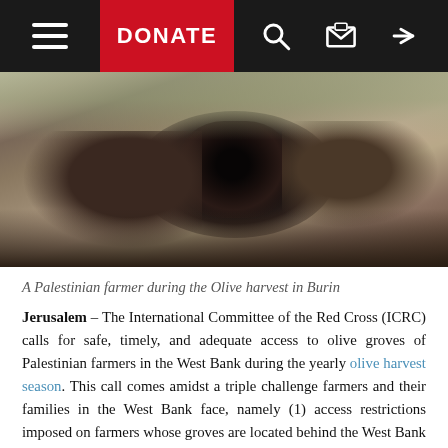Navigation bar with hamburger menu, DONATE button, search icon, email icon, share icon
[Figure (photo): A Palestinian farmer holding a handful of dark olives in cupped hands, with olive trees blurred in the background during olive harvest in Burin.]
A Palestinian farmer during the Olive harvest in Burin
Jerusalem – The International Committee of the Red Cross (ICRC) calls for safe, timely, and adequate access to olive groves of Palestinian farmers in the West Bank during the yearly olive harvest season. This call comes amidst a triple challenge farmers and their families in the West Bank face, namely (1) access restrictions imposed on farmers whose groves are located behind the West Bank barrier and due to restrictions at the...